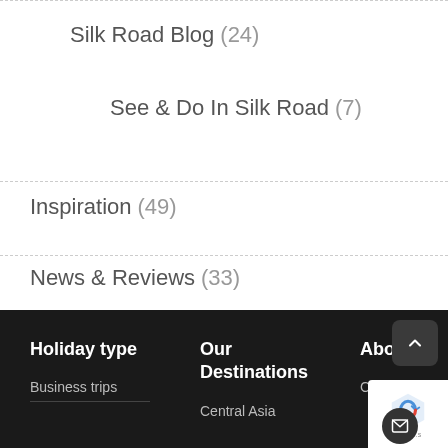Silk Road Blog (24)
See & Do In Silk Road (7)
Inspiration (49)
News & Reviews (33)
Holiday type | Our Destinations | About | Business trips | Central Asia | Contact